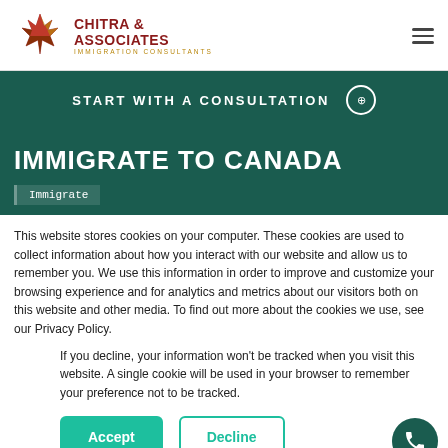[Figure (logo): Chitra & Associates Immigration Consultants logo with maple leaf graphic in red, yellow, and brown]
START WITH A CONSULTATION
IMMIGRATE TO CANADA
Immigrate
This website stores cookies on your computer. These cookies are used to collect information about how you interact with our website and allow us to remember you. We use this information in order to improve and customize your browsing experience and for analytics and metrics about our visitors both on this website and other media. To find out more about the cookies we use, see our Privacy Policy.
If you decline, your information won’t be tracked when you visit this website. A single cookie will be used in your browser to remember your preference not to be tracked.
Accept
Decline